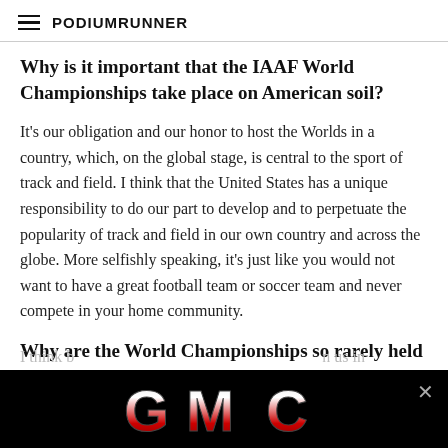PodiumRunner
Why is it important that the IAAF World Championships take place on American soil?
It's our obligation and our honor to host the Worlds in a country, which, on the global stage, is central to the sport of track and field. I think that the United States has a unique responsibility to do our part to develop and to perpetuate the popularity of track and field in our own country and across the globe. More selfishly speaking, it's just like you would not want to have a great football team or soccer team and never compete in your home community.
Why are the World Championships so rarely held in the U.S.?
[Figure (logo): GMC logo on black background advertisement banner]
I think b... n us in